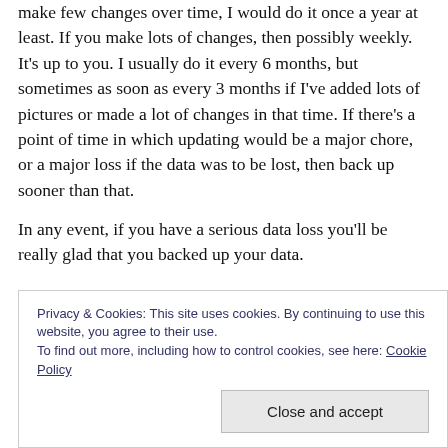How often to back up your computer? It depends. If you make few changes over time, I would do it once a year at least. If you make lots of changes, then possibly weekly. It's up to you. I usually do it every 6 months, but sometimes as soon as every 3 months if I've added lots of pictures or made a lot of changes in that time. If there's a point of time in which updating would be a major chore, or a major loss if the data was to be lost, then back up sooner than that.
In any event, if you have a serious data loss you'll be really glad that you backed up your data.
Privacy & Cookies: This site uses cookies. By continuing to use this website, you agree to their use.
To find out more, including how to control cookies, see here: Cookie Policy